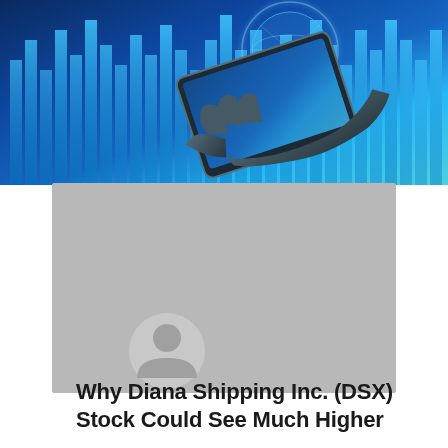[Figure (photo): A hand holding a tablet device with a glowing digital globe and blue stock market bar chart data visualization in the background]
[Figure (photo): Gray placeholder card with a generic user avatar icon (circular silhouette of a person)]
Why Diana Shipping Inc. (DSX) Stock Could See Much Higher